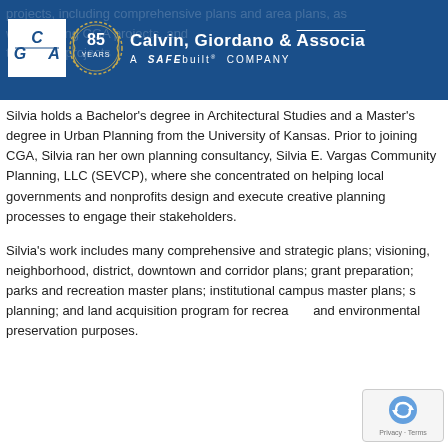Calvin, Giordano & Associates — A SAFEbuilt COMPANY — 85 YEARS
Silvia holds a Bachelor's degree in Architectural Studies and a Master's degree in Urban Planning from the University of Kansas. Prior to joining CGA, Silvia ran her own planning consultancy, Silvia E. Vargas Community Planning, LLC (SEVCP), where she concentrated on helping local governments and nonprofits design and execute creative planning processes to engage their stakeholders.
Silvia's work includes many comprehensive and strategic plans; visioning, neighborhood, district, downtown and corridor plans; grant preparation; parks and recreation master plans; institutional campus master plans; site planning; and land acquisition program for recreation and environmental preservation purposes.